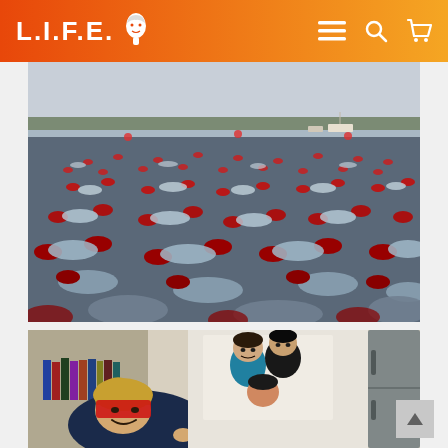L.I.F.E. [logo with face icon] — navigation icons: menu, search, cart
[Figure (photo): Aerial/wide view of a mass open-water swim event with hundreds of swimmers in a lake or bay, wearing red swim caps and splashing in choppy water. Trees and boats visible in the background under a pale sky.]
[Figure (photo): Indoor photo of a person in a navy shirt leaning forward with a red bandana on their face, smiling. In the background is a poster of three young men (a music band poster) on a white wall, and stacked books/DVDs on a shelf. A refrigerator is partially visible on the right.]